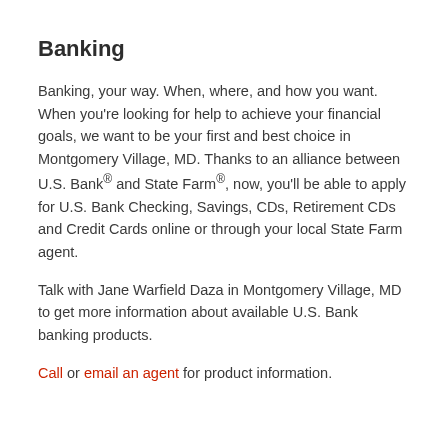Banking
Banking, your way. When, where, and how you want. When you're looking for help to achieve your financial goals, we want to be your first and best choice in Montgomery Village, MD. Thanks to an alliance between U.S. Bank® and State Farm®, now, you'll be able to apply for U.S. Bank Checking, Savings, CDs, Retirement CDs and Credit Cards online or through your local State Farm agent.
Talk with Jane Warfield Daza in Montgomery Village, MD to get more information about available U.S. Bank banking products.
Call or email an agent for product information.